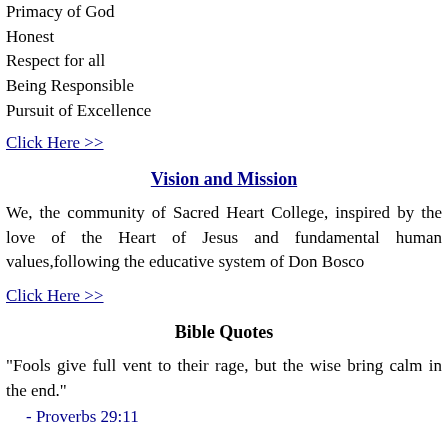Primacy of God
Honest
Respect for all
Being Responsible
Pursuit of Excellence
Click Here >>
Vision and Mission
We, the community of Sacred Heart College, inspired by the love of the Heart of Jesus and fundamental human values,following the educative system of Don Bosco
Click Here >>
Bible Quotes
"Fools give full vent to their rage, but the wise bring calm in the end."
- Proverbs 29:11